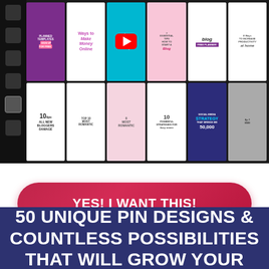[Figure (screenshot): Screenshot of a Pinterest/YouTube dashboard showing a grid of pin thumbnail images with various blog and social media content, including topics like productivity, blogging, social media strategy, and money-making tips. A YouTube play button overlay is visible in the center. A dark sidebar with navigation icons is on the left.]
YES! I WANT THIS!
50 UNIQUE PIN DESIGNS & COUNTLESS POSSIBILITIES THAT WILL GROW YOUR